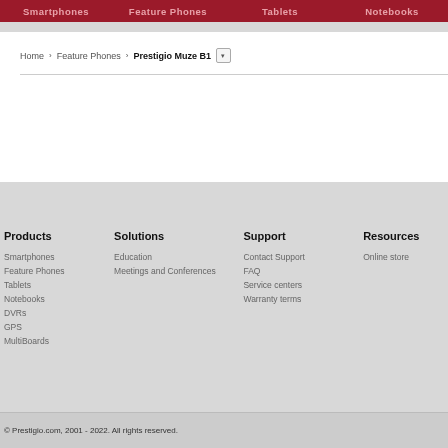Smartphones | Feature Phones | Tablets | Notebooks
Home > Feature Phones > Prestigio Muze B1
Products
Smartphones
Feature Phones
Tablets
Notebooks
DVRs
GPS
MultiBoards
Solutions
Education
Meetings and Conferences
Support
Contact Support
FAQ
Service centers
Warranty terms
Resources
Online store
© Prestigio.com, 2001 - 2022. All rights reserved.